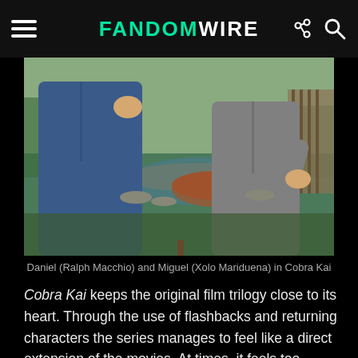FandomWire
[Figure (photo): Daniel (Ralph Macchio) and Miguel (Xolo Mariduena) practicing karate outdoors in a garden setting with a pond and wooden deck. Two figures in athletic wear with hands raised in karate stances.]
Daniel (Ralph Macchio) and Miguel (Xolo Mariduena) in Cobra Kai
Cobra Kai keeps the original film trilogy close to its heart. Through the use of flashbacks and returning characters the series manages to feel like a direct extension of the movies. At times, it feels too reliant on the movies. This was primarily the case with Season 3. Watching Daniel and Johnny fall back into their love of karate, and share that passion with their own children and students makes